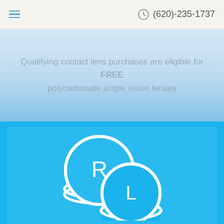≡  (620)-235-1737
Qualifying contact lens purchases are eligible for FREE polycarbonate single vision lenses
[Figure (illustration): Contact lens icon showing two stacked circular lenses labeled R (right) and L (left) in white on a bright blue background]